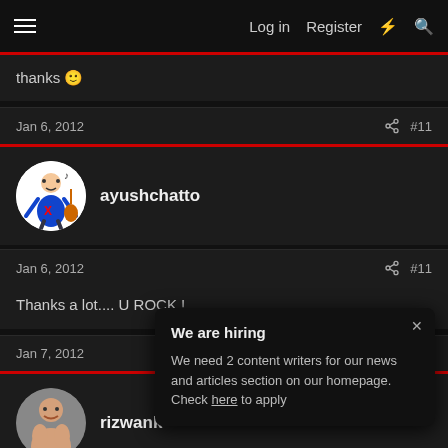Log in  Register
thanks 🙂
Jan 6, 2012   #11
ayushchatto
Jan 6, 2012   #11
Thanks a lot.... U ROCK !
Jan 7, 2012
rizwank
We are hiring
We need 2 content writers for our news and articles section on our homepage.
Check here to apply